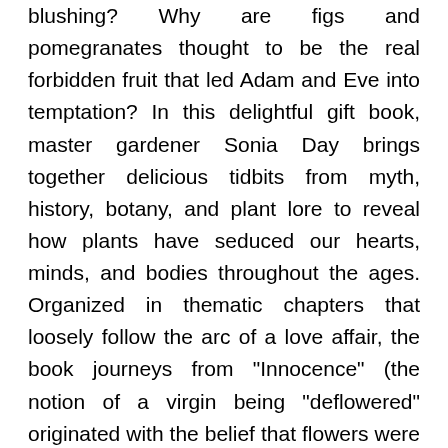blushing? Why are figs and pomegranates thought to be the real forbidden fruit that led Adam and Eve into temptation? In this delightful gift book, master gardener Sonia Day brings together delicious tidbits from myth, history, botany, and plant lore to reveal how plants have seduced our hearts, minds, and bodies throughout the ages. Organized in thematic chapters that loosely follow the arc of a love affair, the book journeys from "Innocence" (the notion of a virgin being "deflowered" originated with the belief that flowers were pure and sexless), through such stages as "Flirtation," "Seduction," "Lust," "Deception," and "Rapture." Scattered throughout are love potions, examples from the Victorian "language of flowers," and charming